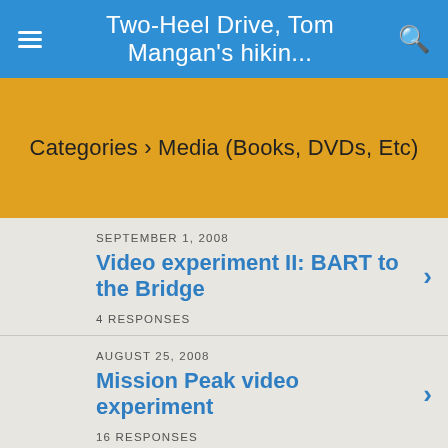Two-Heel Drive, Tom Mangan's hikin...
Categories › Media (Books, DVDs, Etc)
SEPTEMBER 1, 2008
Video experiment II: BART to the Bridge
4 RESPONSES
AUGUST 25, 2008
Mission Peak video experiment
16 RESPONSES
JULY 22, 2008